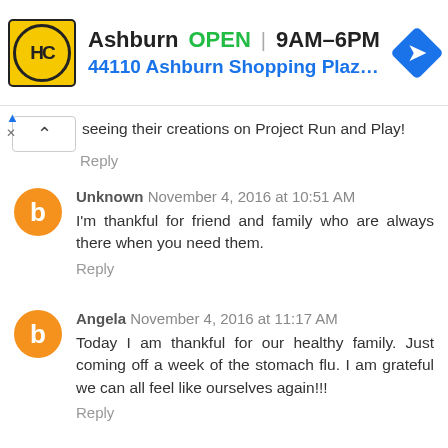[Figure (other): Advertisement banner for Hairclub (HC) Ashburn location. Shows HC logo in yellow/black circle, text: Ashburn OPEN 9AM-6PM, 44110 Ashburn Shopping Plaza 1., with a blue navigation arrow diamond icon.]
seeing their creations on Project Run and Play!
Reply
Unknown November 4, 2016 at 10:51 AM
I'm thankful for friend and family who are always there when you need them.
Reply
Angela November 4, 2016 at 11:17 AM
Today I am thankful for our healthy family. Just coming off a week of the stomach flu. I am grateful we can all feel like ourselves again!!!
Reply